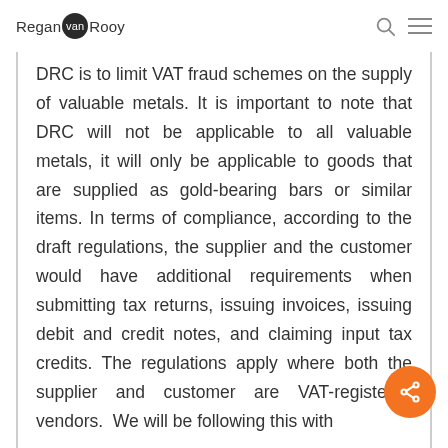Regan van Rooy
DRC is to limit VAT fraud schemes on the supply of valuable metals. It is important to note that DRC will not be applicable to all valuable metals, it will only be applicable to goods that are supplied as gold-bearing bars or similar items. In terms of compliance, according to the draft regulations, the supplier and the customer would have additional requirements when submitting tax returns, issuing invoices, issuing debit and credit notes, and claiming input tax credits. The regulations apply where both the supplier and customer are VAT-registered vendors.  We will be following this with